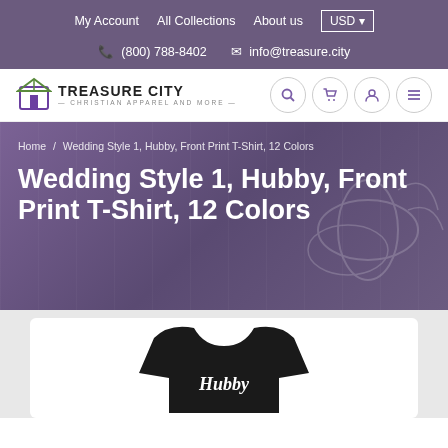My Account   All Collections   About us   USD
☎ (800) 788-8402  ✉ info@treasure.city
[Figure (logo): Treasure City Christian Apparel and More logo with building icon]
Home / Wedding Style 1, Hubby, Front Print T-Shirt, 12 Colors
Wedding Style 1, Hubby, Front Print T-Shirt, 12 Colors
[Figure (photo): Black t-shirt with white cursive text, partially visible, on white card background]